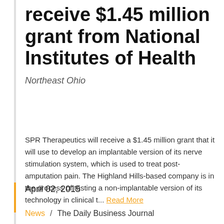receive $1.45 million grant from National Institutes of Health
Northeast Ohio
SPR Therapeutics will receive a $1.45 million grant that it will use to develop an implantable version of its nerve stimulation system, which is used to treat post-amputation pain. The Highland Hills-based company is in the process of testing a non-implantable version of its technology in clinical t... Read More
April 02, 2015
News / The Daily Business Journal